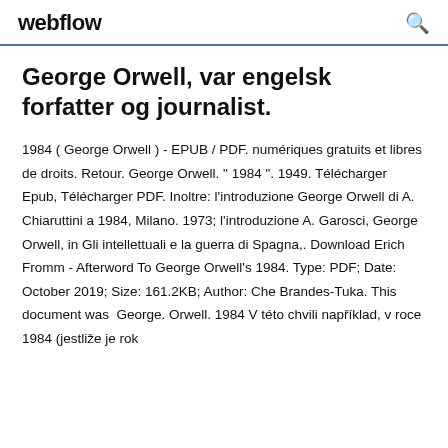webflow
George Orwell, var engelsk forfatter og journalist.
1984 ( George Orwell ) - EPUB / PDF. numériques gratuits et libres de droits. Retour. George Orwell. " 1984 ". 1949. Télécharger Epub, Télécharger PDF. Inoltre: l'introduzione George Orwell di A. Chiaruttini a 1984, Milano. 1973; l'introduzione A. Garosci, George Orwell, in Gli intellettuali e la guerra di Spagna,. Download Erich Fromm - Afterword To George Orwell's 1984. Type: PDF; Date: October 2019; Size: 161.2KB; Author: Che Brandes-Tuka. This document was George. Orwell. 1984 V této chvili například, v roce 1984 (jestliže je rok